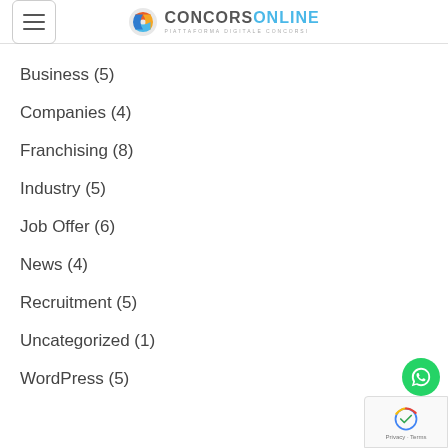ConcorsOnline - Piattaforma Digitale Concorsi
Business (5)
Companies (4)
Franchising (8)
Industry (5)
Job Offer (6)
News (4)
Recruitment (5)
Uncategorized (1)
WordPress (5)